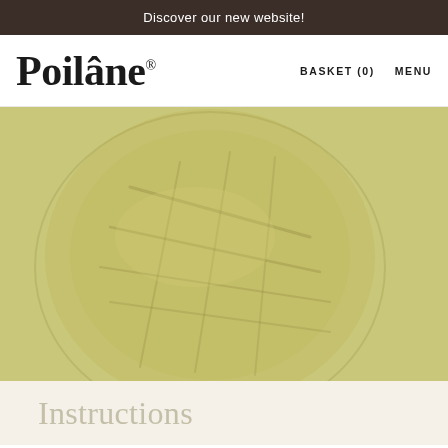Discover our new website!
Poilâne®
BASKET (0)   MENU
[Figure (photo): Hero image showing a round Poilâne sourdough bread loaf with a scored top crust, rendered with a warm olive-yellow wash overlay]
Instructions